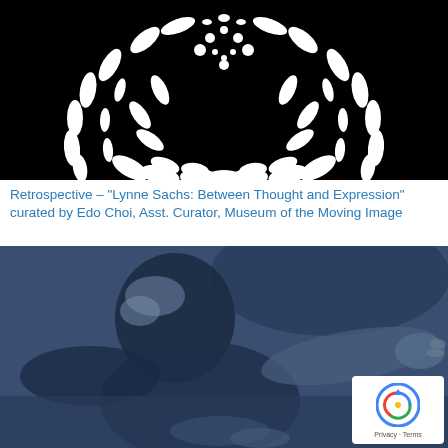[Figure (photo): Black and white image showing a circular ring of white Arabic or decorative calligraphic script on a black background, with dots/circles scattered within and around the ring.]
Retrospective – "Lynne Sachs: Between Thought and Expression" curated by Edo Choi, Asst. Curator, Museum of the Moving Image
[Figure (photo): Duotone blue-toned photograph of a person with dark hair leaning forward with arms outstretched, appearing to be in motion or dance.]
[Figure (other): Google reCAPTCHA badge showing the reCAPTCHA logo with Privacy and Terms links below.]